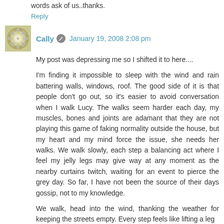words ask of us..thanks.
Reply
Cally  January 19, 2008 2:08 pm
My post was depressing me so I shifted it to here....
I'm finding it impossible to sleep with the wind and rain battering walls, windows, roof. The good side of it is that people don't go out, so it's easier to avoid conversation when I walk Lucy. The walks seem harder each day, my muscles, bones and joints are adamant that they are not playing this game of faking normality outside the house, but my heart and my mind force the issue, she needs her walks. We walk slowly, each step a balancing act where I feel my jelly legs may give way at any moment as the nearby curtains twitch, waiting for an event to pierce the grey day. So far, I have not been the source of their days gossip, not to my knowledge.
We walk, head into the wind, thanking the weather for keeping the streets empty. Every step feels like lifting a leg